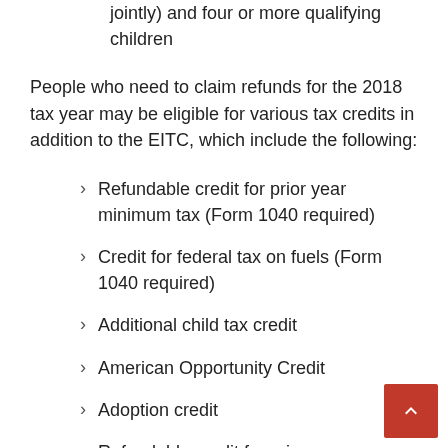And $45,454 ($51,464 Married filing jointly) and four or more qualifying children
People who need to claim refunds for the 2018 tax year may be eligible for various tax credits in addition to the EITC, which include the following:
Refundable credit for prior year minimum tax (Form 1040 required)
Credit for federal tax on fuels (Form 1040 required)
Additional child tax credit
American Opportunity Credit
Adoption credit
Refundable credit for prior year